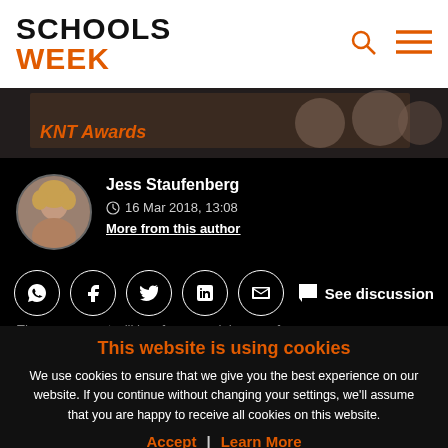SCHOOLS WEEK
[Figure (photo): Partial banner image with text in orange italic, dark background]
Jess Staufenberg
16 Mar 2018, 13:08
More from this author
See discussion
This website is using cookies
We use cookies to ensure that we give you the best experience on our website. If you continue without changing your settings, we'll assume that you are happy to receive all cookies on this website.
Accept | Learn More
The government will in... for a special wave of
NPO 2024 APPLICATIONS NOW OPEN  FUNDED  APPLY NOW